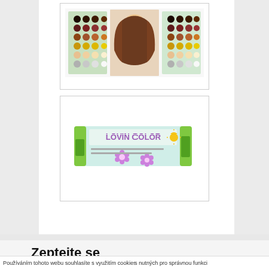[Figure (photo): Hair color palette chart showing multiple rows of color swatches with a woman with long brown hair in the center]
[Figure (photo): LOVIN COLOR hair product tube box with green and light blue packaging and floral decoration]
Zeptejte se
Používáním tohoto webu souhlasíte s využitím cookies nutných pro správnou funkci